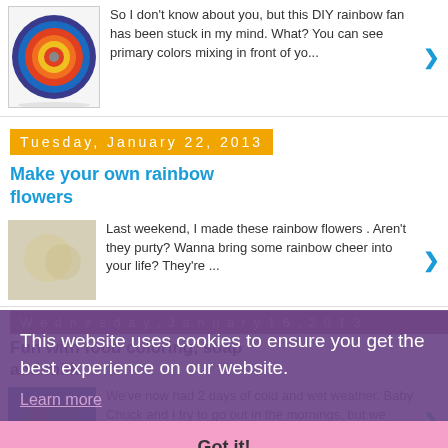[Figure (photo): Rainbow fan with concentric colored rings (red, orange, yellow, blue, purple) on white background]
So I don't know about you, but this DIY rainbow fan has been stuck in my mind.  What?  You can see primary colors mixing in front of yo...
Tuesday, January 22, 2013
Make your own rainbow flowers
[Figure (photo): Rainbow flowers craft photo, slightly faded]
Last weekend, I made these rainbow flowers . Aren't they purty? Wanna bring some rainbow cheer into your life?  They're ...
This website uses cookies to ensure you get the best experience on our website.
Learn more
Got it!
Wednesday, January 16, 2013
Fun with food coloring, soap and milk
[Figure (photo): Food coloring in milk experiment photo]
We've now had 2 days of cold and wet weather. Baby Chuck and I try to go out in the mornings, but we usually stay at home in the aftern...